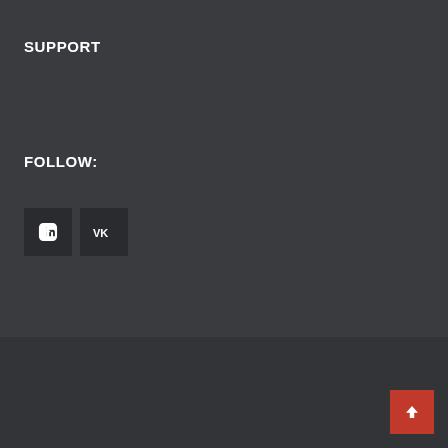SUPPORT
FOLLOW:
[Figure (illustration): Social media icons: Facebook (f) and VK (VK logo) as dark square buttons]
Copyright © 2009 - 2022 Microlab Electronics Co., Ltd. All Rights Reserved.